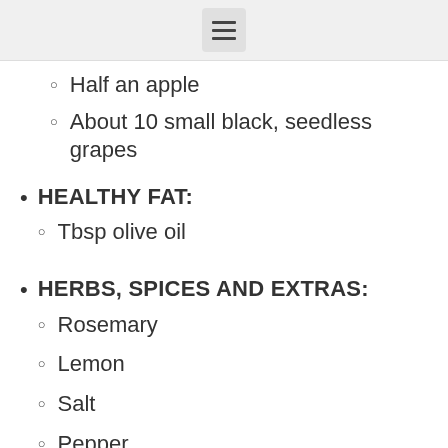Half an apple
About 10 small black, seedless grapes
HEALTHY FAT:
Tbsp olive oil
HERBS, SPICES AND EXTRAS:
Rosemary
Lemon
Salt
Pepper